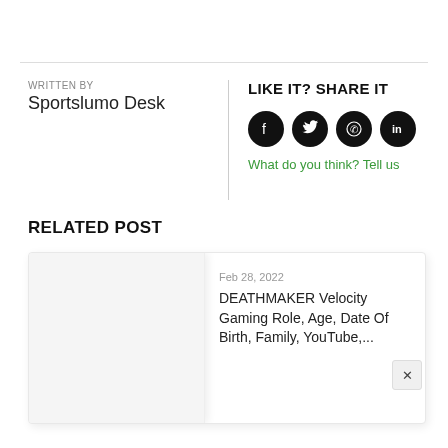WRITTEN BY
Sportslumo Desk
LIKE IT? SHARE IT
[Figure (infographic): Social sharing icons: Facebook, Twitter, WhatsApp, LinkedIn — black circular icons in a row]
What do you think? Tell us
RELATED POST
Feb 28, 2022
DEATHMAKER Velocity Gaming Role, Age, Date Of Birth, Family, YouTube,...